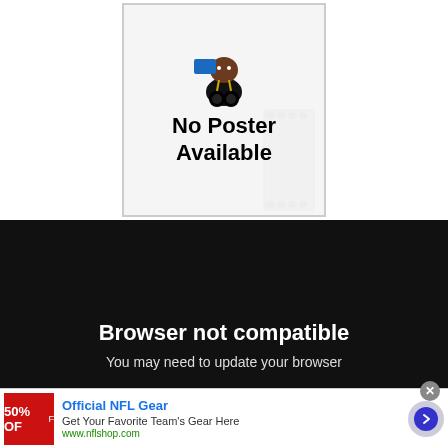[Figure (illustration): No Poster Available placeholder image with cartoon character and film reel background]
Browser not compatible
You may need to update your browser
[Figure (screenshot): Advertisement for Official NFL Gear showing 50% OFF in red box, with headline, body text, URL, and arrow button]